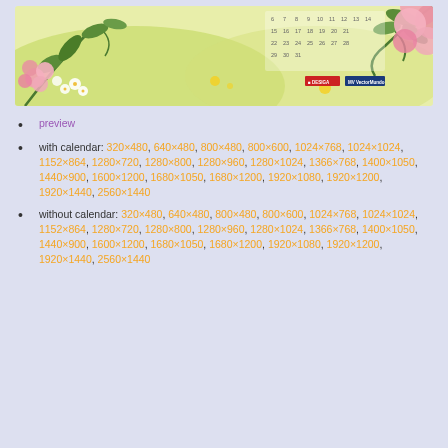[Figure (illustration): Decorative floral calendar wallpaper showing pink flowers, green leaves, and a small calendar grid on a light yellow-green background with logos at bottom right]
preview
with calendar: 320×480, 640×480, 800×480, 800×600, 1024×768, 1024×1024, 1152×864, 1280×720, 1280×800, 1280×960, 1280×1024, 1366×768, 1400×1050, 1440×900, 1600×1200, 1680×1050, 1680×1200, 1920×1080, 1920×1200, 1920×1440, 2560×1440
without calendar: 320×480, 640×480, 800×480, 800×600, 1024×768, 1024×1024, 1152×864, 1280×720, 1280×800, 1280×960, 1280×1024, 1366×768, 1400×1050, 1440×900, 1600×1200, 1680×1050, 1680×1200, 1920×1080, 1920×1200, 1920×1440, 2560×1440